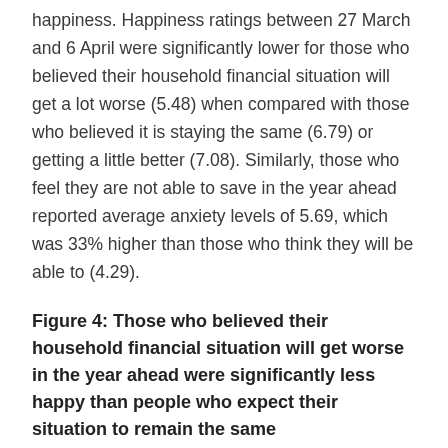happiness. Happiness ratings between 27 March and 6 April were significantly lower for those who believed their household financial situation will get a lot worse (5.48) when compared with those who believed it is staying the same (6.79) or getting a little better (7.08). Similarly, those who feel they are not able to save in the year ahead reported average anxiety levels of 5.69, which was 33% higher than those who think they will be able to (4.29).
Figure 4: Those who believed their household financial situation will get worse in the year ahead were significantly less happy than people who expect their situation to remain the same